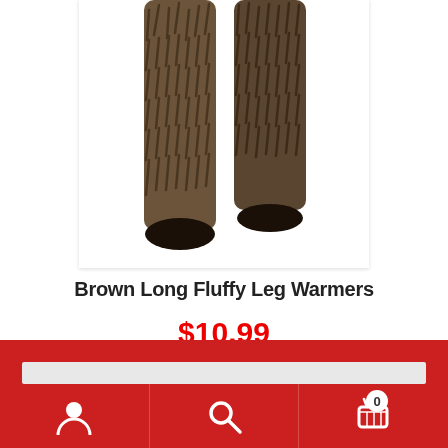[Figure (photo): Brown long fluffy leg warmers worn on legs, showing furry brown texture from above the knee to the toe area, against a white background.]
Brown Long Fluffy Leg Warmers
$10.99
ADD TO CART
Search bar and navigation icons: user, search, cart (0)